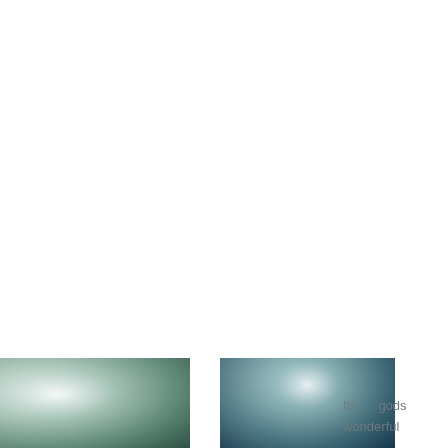[Figure (photo): Snowy tree branches, light tones, left image]
[Figure (photo): Snowy tree branches, darker tones, center image]
Its gods wonderful